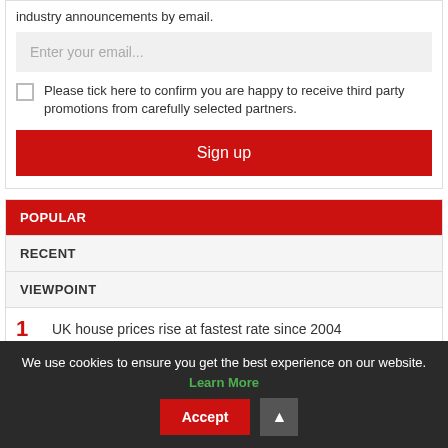industry announcements by email.
Enter your email...
Please tick here to confirm you are happy to receive third party promotions from carefully selected partners.
Sign up
POPULAR
RECENT
VIEWPOINT
1  UK house prices rise at fastest rate since 2004
We use cookies to ensure you get the best experience on our website. Learn More  Accept